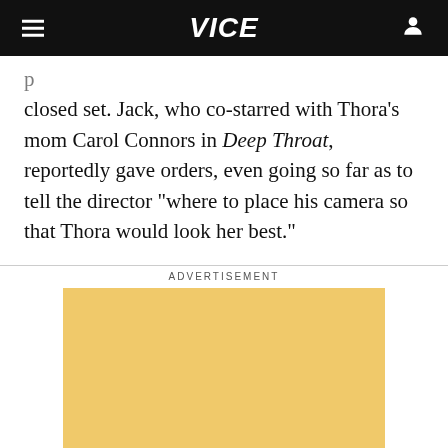VICE
closed set. Jack, who co-starred with Thora's mom Carol Connors in Deep Throat, reportedly gave orders, even going so far as to tell the director "where to place his camera so that Thora would look her best."
ADVERTISEMENT
[Figure (other): Yellow/tan advertisement placeholder block]